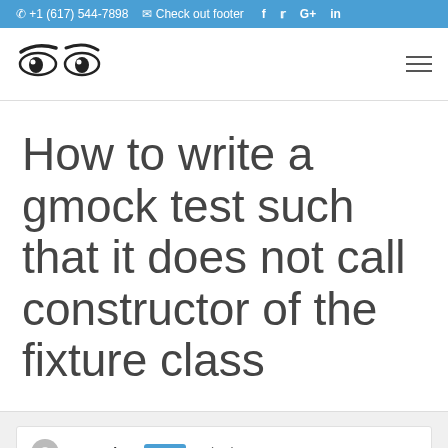+1 (617) 544-7898  Check out footer  f  y  G+  in
[Figure (logo): Stylized logo with two pairs of drawn eyes in black ink]
How to write a gmock test such that it does not call constructor of the fixture class
Garmaine  Staff  asked 2 years ago